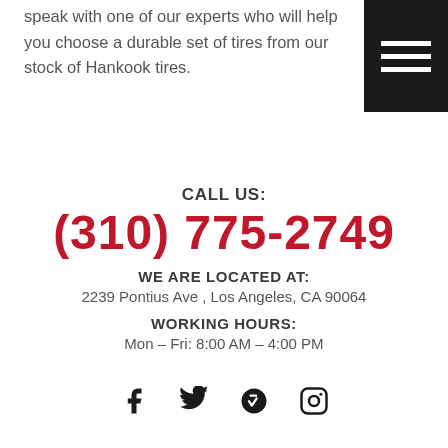speak with one of our experts who will help you choose a durable set of tires from our stock of Hankook tires.
[Figure (other): Hamburger menu icon — three white horizontal lines on a black square background]
CALL US:
(310) 775-2749
WE ARE LOCATED AT:
2239 Pontius Ave , Los Angeles, CA 90064
WORKING HOURS:
Mon – Fri: 8:00 AM – 4:00 PM
[Figure (other): Social media icons row: Facebook, Twitter, Yelp, Instagram]